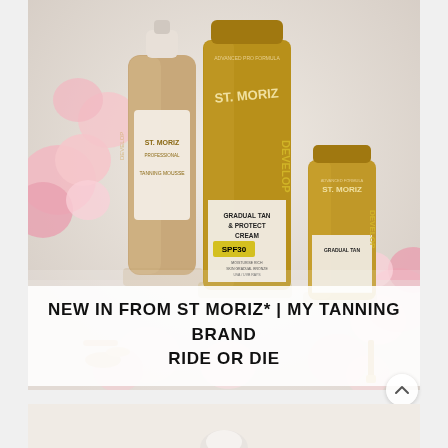[Figure (photo): Flatlay photo of St. Moriz Advanced Pro Formula tanning products including a tanning mousse bottle, a large Gradual Tan & Protect Cream SPF30 tube, and a smaller tube, surrounded by pink flowers and gold accessories on a white background.]
NEW IN FROM ST MORIZ* | MY TANNING BRAND RIDE OR DIE